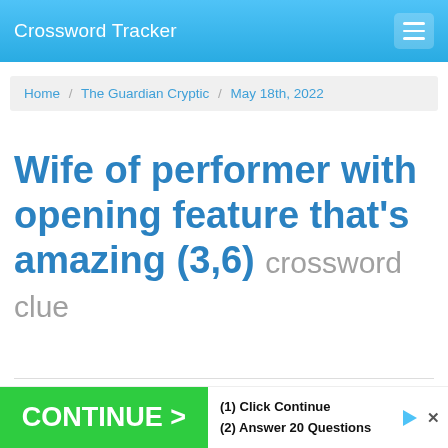Crossword Tracker
Home / The Guardian Cryptic / May 18th, 2022
Wife of performer with opening feature that's amazing (3,6) crossword clue